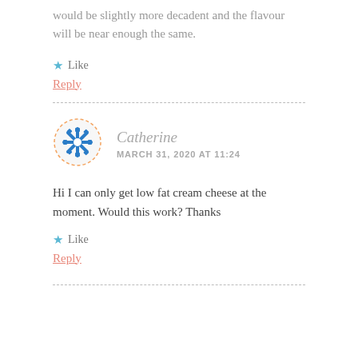would be slightly more decadent and the flavour will be near enough the same.
Like
Reply
[Figure (illustration): Round avatar with blue snowflake/asterisk pattern and dashed orange border circle]
Catherine
MARCH 31, 2020 AT 11:24
Hi I can only get low fat cream cheese at the moment. Would this work? Thanks
Like
Reply